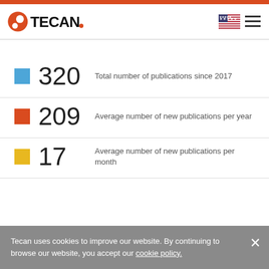TECAN.
320  Total number of publications since 2017
209  Average number of new publications per year
17  Average number of new publications per month
Tecan uses cookies to improve our website. By continuing to browse our website, you accept our cookie policy.